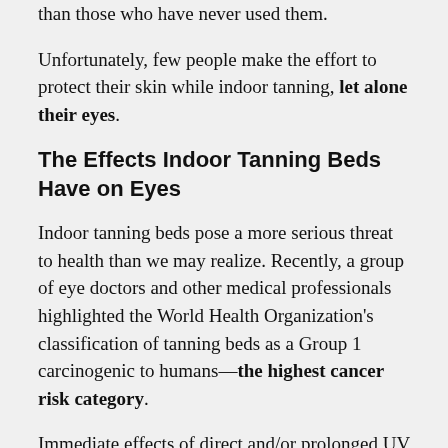than those who have never used them.
Unfortunately, few people make the effort to protect their skin while indoor tanning, let alone their eyes.
The Effects Indoor Tanning Beds Have on Eyes
Indoor tanning beds pose a more serious threat to health than we may realize. Recently, a group of eye doctors and other medical professionals highlighted the World Health Organization's classification of tanning beds as a Group 1 carcinogenic to humans—the highest cancer risk category.
Immediate effects of direct and/or prolonged UV exposure to the eyes are cataracts and photokeratitis. Photokeratitis is similar to a sunburn of the eyes, and can cause irritation,